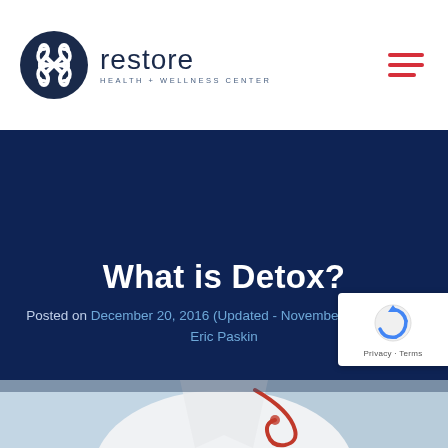[Figure (logo): Restore Health + Wellness Center logo with circular icon and text]
What is Detox?
Posted on December 20, 2016 (Updated - November 22, 2021) by Eric Paskin
[Figure (photo): Photo of a doctor in a white coat with a red stethoscope, partially visible at bottom of page]